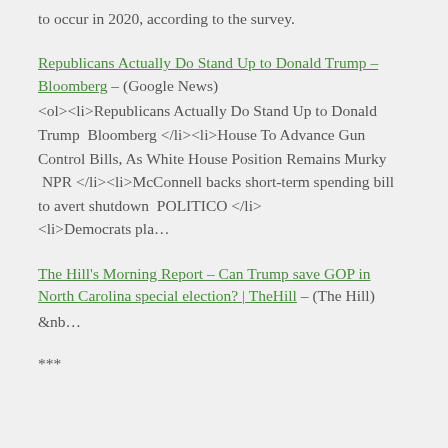to occur in 2020, according to the survey.
Republicans Actually Do Stand Up to Donald Trump – Bloomberg – (Google News)
<ol><li>Republicans Actually Do Stand Up to Donald Trump  Bloomberg </li><li>House To Advance Gun Control Bills, As White House Position Remains Murky  NPR </li><li>McConnell backs short-term spending bill to avert shutdown  POLITICO </li><li>Democrats pla…
The Hill's Morning Report – Can Trump save GOP in North Carolina special election? | TheHill – (The Hill)
&nb…
***